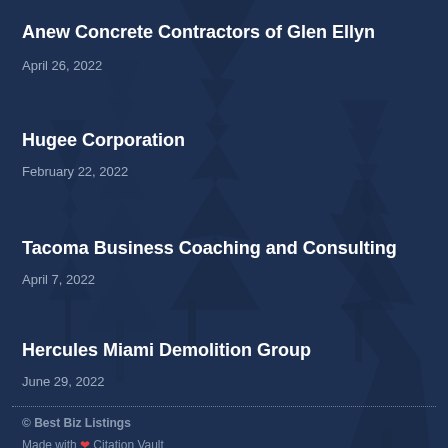Anew Concrete Contractors of Glen Ellyn
April 26, 2022
Hugee Corporation
February 22, 2022
Tacoma Business Coaching and Consulting
April 7, 2022
Hercules Miami Demolition Group
June 29, 2022
© Best Biz Listings
Made with ❤ Citation Vault